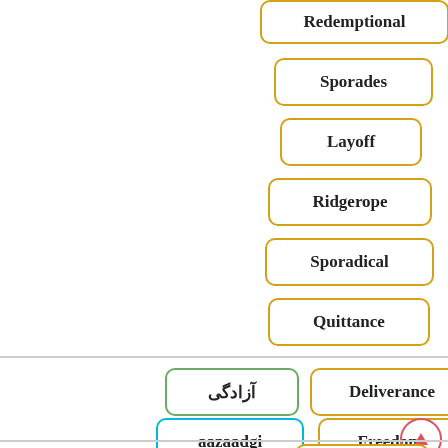[Figure (other): Flashcard-style vocabulary matching UI: English words in orange rounded boxes, Persian/transliteration in green/cyan boxes, arranged vertically with section dividers and a navigation up-arrow button.]